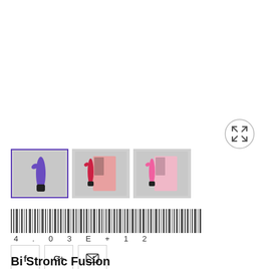[Figure (other): Expand/zoom button - circle with crossed arrows icon]
[Figure (photo): Three product thumbnail images: 1) Purple rabbit vibrator on grey background (selected, blue border), 2) Red rabbit vibrator next to pink product box, 3) Pink rabbit vibrator next to pink product box]
[Figure (other): Barcode with number 4.03E+12 beneath it]
f
G+
(envelope icon)
Bi Stronic Fusion